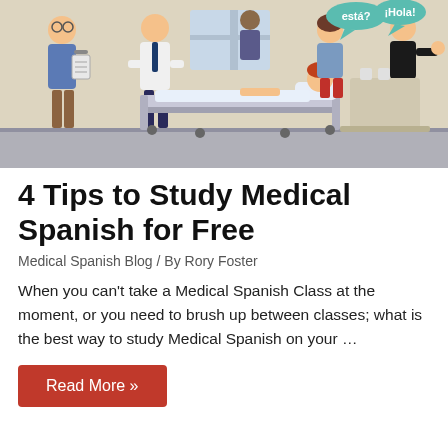[Figure (illustration): Cartoon illustration showing medical scene: a doctor in white coat with a patient on a hospital bed, a nurse/assistant with a clipboard, and two people greeting each other with speech bubbles saying 'está?' and '¡Hola!']
4 Tips to Study Medical Spanish for Free
Medical Spanish Blog / By Rory Foster
When you can't take a Medical Spanish Class at the moment, or you need to brush up between classes; what is the best way to study Medical Spanish on your …
Read More »